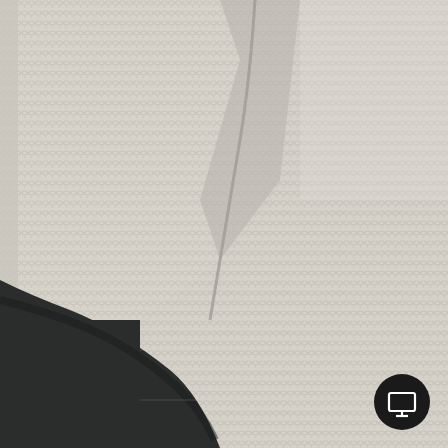[Figure (photo): Close-up photograph of a cream/off-white knitted fabric or sweater showing textured knit stitch pattern. The fabric is draped and folded, revealing the armhole or shoulder area. The bottom-left corner shows a dark charcoal/black surface behind the fabric. A small circular dark button with a screen/monitor icon is overlaid in the bottom-right corner.]